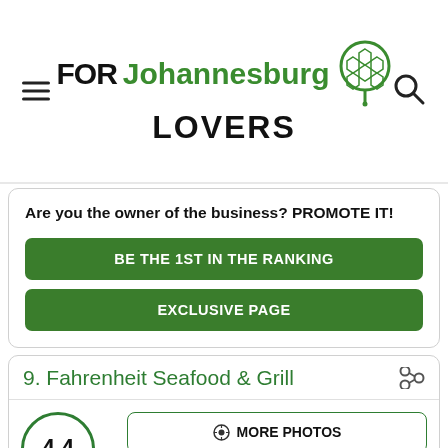FOR Johannesburg LOVERS
Are you the owner of the business? PROMOTE IT!
BE THE 1ST IN THE RANKING
EXCLUSIVE PAGE
9. Fahrenheit Seafood & Grill
4.4  3137 reviews
MORE PHOTOS
Location